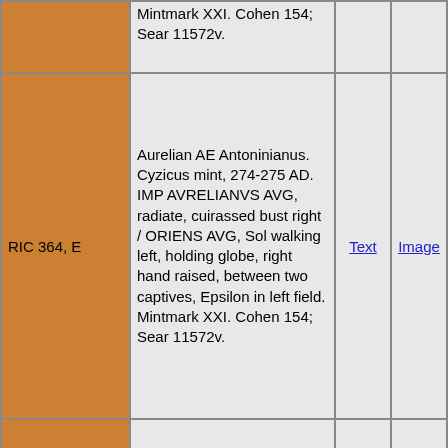| Reference | Description | Text | Image |
| --- | --- | --- | --- |
| RIC 364, E | Aurelian AE Antoninianus. Cyzicus mint, 274-275 AD. IMP AVRELIANVS AVG, radiate, cuirassed bust right / ORIENS AVG, Sol walking left, holding globe, right hand raised, between two captives, Epsilon in left field. Mintmark XXI. Cohen 154; Sear 11572v. | Text | Image |
| RIC 365, ΔC | Aurelian, AE antoninianus of Cyzicus. AVRELIANVS AVG, radiate, cuirassed bust right / ORIENS AVG, Sol walking left between two captives, holding globe and raising right hand. Mintmark Δ C. RIC V-1, 365. | Text | Image |
| RIC 365 var, AC | Aurelian, AE antoninianus of Cyzicus. AD 270-275. 23mm, 4.31 g. IMP C AVRELIANVS AVG, radiate, cuirassed bust right / ORIENS AVG, Sol standing right, holding sceptre and globe, one foot on a captive lying flat on the ground and looking backwards. Mintmark AC. RIC V-1, 360 var (reverse type). Unpublished reverse for | Text | Image |